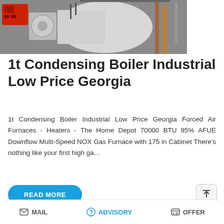[Figure (photo): Industrial condensing boiler with red burner unit and large cylindrical white vessel with pipes in background]
1t Condensing Boiler Industrial Low Price Georgia
1t Condensing Boiler Industrial Low Price Georgia Forced Air Furnaces - Heaters - The Home Depot 70000 BTU 95% AFUE Downflow Multi-Speed NOX Gas Furnace with 175 in Cabinet There's nothing like your first high ga…
[Figure (screenshot): Save Stickers on WhatsApp overlay with phone icon and emoji icon over industrial site photo with yellow scaffolding]
MAIL   ADVISORY   OFFER